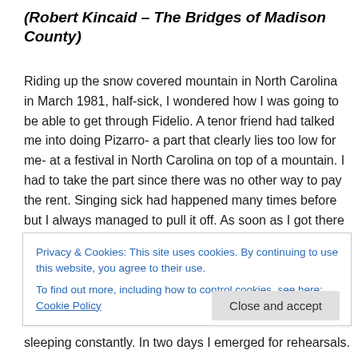(Robert Kincaid – The Bridges of Madison County)
Riding up the snow covered mountain in North Carolina in March 1981, half-sick, I wondered how I was going to be able to get through Fidelio. A tenor friend had talked me into doing Pizarro- a part that clearly lies too low for me- at a festival in North Carolina on top of a mountain. I had to take the part since there was no other way to pay the rent. Singing sick had happened many times before but I always managed to pull it off. As soon as I got there I
Privacy & Cookies: This site uses cookies. By continuing to use this website, you agree to their use.
To find out more, including how to control cookies, see here: Cookie Policy
sleeping constantly. In two days I emerged for rehearsals.